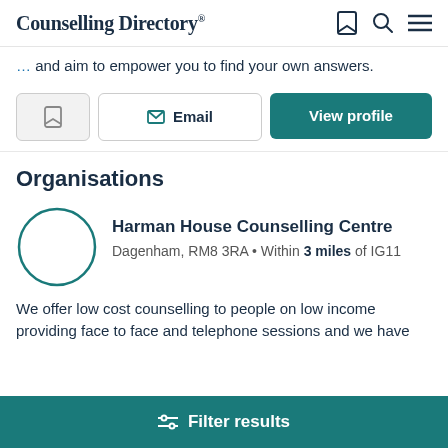Counselling Directory
and aim to empower you to find your own answers.
[Figure (screenshot): Action buttons: bookmark icon button, Email button with envelope icon, View profile button]
Organisations
[Figure (illustration): Circular logo placeholder for Harman House Counselling Centre]
Harman House Counselling Centre
Dagenham, RM8 3RA • Within 3 miles of IG11
We offer low cost counselling to people on low income providing face to face and telephone sessions and we have
Filter results